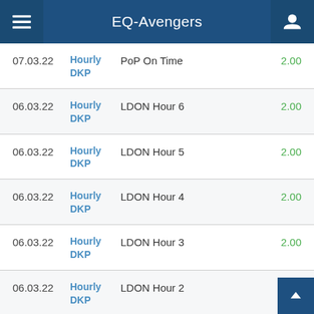EQ-Avengers
| Date | Type | Description | Value |
| --- | --- | --- | --- |
| 07.03.22 | Hourly DKP | PoP On Time | 2.00 |
| 06.03.22 | Hourly DKP | LDON Hour 6 | 2.00 |
| 06.03.22 | Hourly DKP | LDON Hour 5 | 2.00 |
| 06.03.22 | Hourly DKP | LDON Hour 4 | 2.00 |
| 06.03.22 | Hourly DKP | LDON Hour 3 | 2.00 |
| 06.03.22 | Hourly DKP | LDON Hour 2 | 2.00 |
| 06.03.22 | Hourly DKP | LDON Hour 1 | 2.00 |